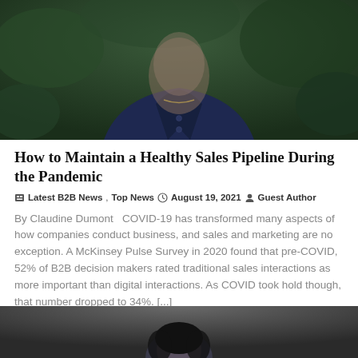[Figure (photo): Portrait photo of a person wearing a dark navy jacket, photographed outdoors with green foliage in the background. Upper body visible from roughly chest up.]
How to Maintain a Healthy Sales Pipeline During the Pandemic
Latest B2B News, Top News  August 19, 2021  Guest Author
By Claudine Dumont   COVID-19 has transformed many aspects of how companies conduct business, and sales and marketing are no exception. A McKinsey Pulse Survey in 2020 found that pre-COVID, 52% of B2B decision makers rated traditional sales interactions as more important than digital interactions. As COVID took hold though, that number dropped to 34%. [...]
[Figure (photo): Partial portrait photo of another person, cropped at bottom of page, showing only the top portion of their head against a dark background.]